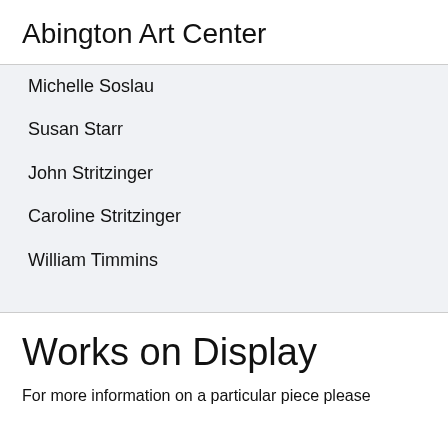Abington Art Center
Michelle Soslau
Susan Starr
John Stritzinger
Caroline Stritzinger
William Timmins
Works on Display
For more information on a particular piece please